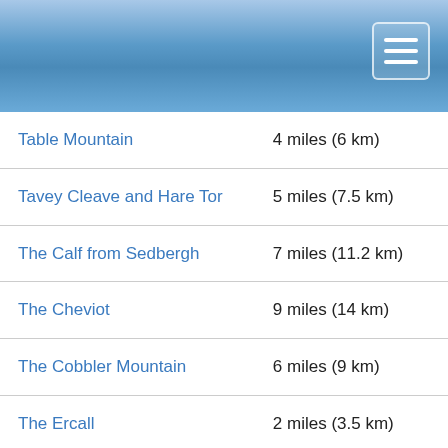[Figure (screenshot): Blue gradient header bar with a hamburger menu button (three white horizontal lines) in the top-right corner]
| Table Mountain | 4 miles (6 km) |
| Tavey Cleave and Hare Tor | 5 miles (7.5 km) |
| The Calf from Sedbergh | 7 miles (11.2 km) |
| The Cheviot | 9 miles (14 km) |
| The Cobbler Mountain | 6 miles (9 km) |
| The Ercall | 2 miles (3.5 km) |
| The Hangman Hills | 5 miles (7.5 km) |